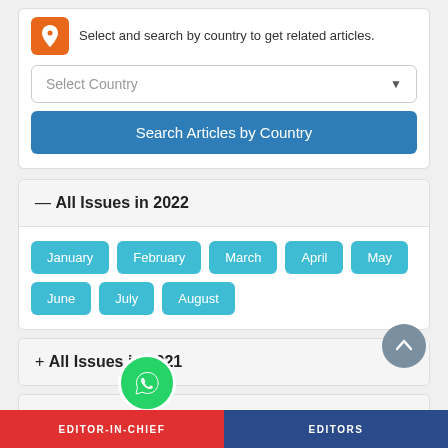Select and search by country to get related articles.
Select Country
Search Articles by Country
— All Issues in 2022
January
February
March
April
May
June
July
August
+ All Issues in 2021
+ All Issues in 2020
EDITOR-IN-CHIEF
EDITORS